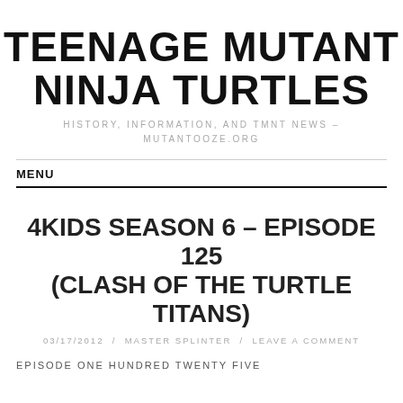TEENAGE MUTANT NINJA TURTLES
HISTORY, INFORMATION, AND TMNT NEWS – MUTANTOOZE.ORG
MENU
4KIDS SEASON 6 – EPISODE 125 (CLASH OF THE TURTLE TITANS)
03/17/2012 / MASTER SPLINTER / LEAVE A COMMENT
EPISODE ONE HUNDRED TWENTY FIVE